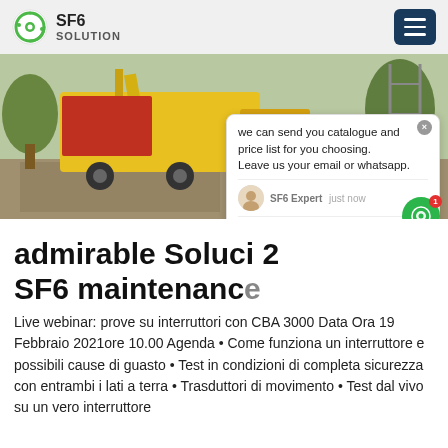SF6 SOLUTION
[Figure (photo): Outdoor scene with a large yellow truck/vehicle on a street, with trees and scaffolding in the background. A chat popup overlay is visible on the right side.]
admirable Soluci 2 SF6 maintenance
Live webinar: prove su interruttori con CBA 3000 Data Ora 19 Febbraio 2021ore 10.00 Agenda • Come funziona un interruttore e possibili cause di guasto • Test in condizioni di completa sicurezza con entrambi i lati a terra • Trasduttori di movimento • Test dal vivo su un vero interruttore